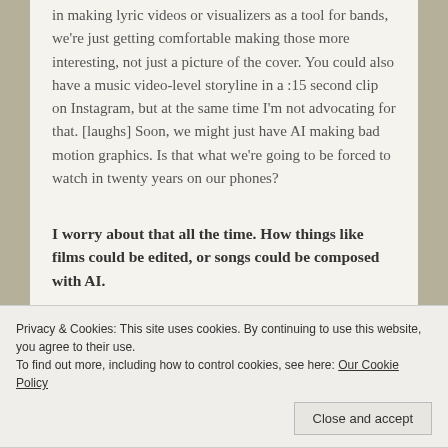in making lyric videos or visualizers as a tool for bands, we're just getting comfortable making those more interesting, not just a picture of the cover. You could also have a music video-level storyline in a :15 second clip on Instagram, but at the same time I'm not advocating for that. [laughs] Soon, we might just have AI making bad motion graphics. Is that what we're going to be forced to watch in twenty years on our phones?
I worry about that all the time. How things like films could be edited, or songs could be composed with AI.
AA: You hear about movies now that are based on supercuts of other movies. I love watching movies for inspiration, but I
Privacy & Cookies: This site uses cookies. By continuing to use this website, you agree to their use.
To find out more, including how to control cookies, see here: Our Cookie Policy
Close and accept
When you become too aware of something's structure, it